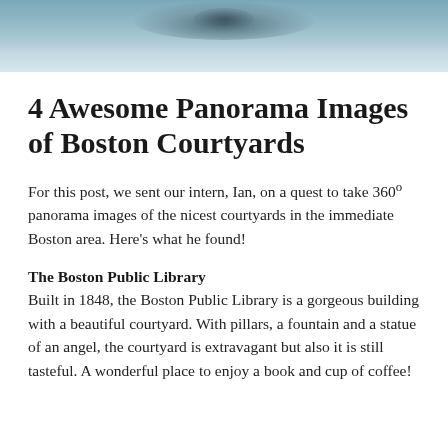[Figure (photo): Aerial or close-up view of a fountain or water feature, with blue-grey tones, water droplets visible near center top.]
4 Awesome Panorama Images of Boston Courtyards
For this post, we sent our intern, Ian, on a quest to take 360º panorama images of the nicest courtyards in the immediate Boston area. Here's what he found!
The Boston Public Library
Built in 1848, the Boston Public Library is a gorgeous building with a beautiful courtyard. With pillars, a fountain and a statue of an angel, the courtyard is extravagant but also it is still tasteful. A wonderful place to enjoy a book and cup of coffee!